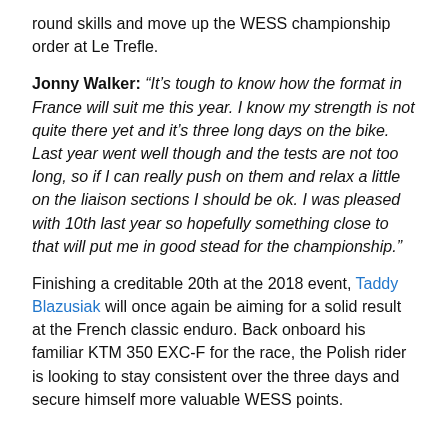round skills and move up the WESS championship order at Le Trefle.
Jonny Walker: “It’s tough to know how the format in France will suit me this year. I know my strength is not quite there yet and it’s three long days on the bike. Last year went well though and the tests are not too long, so if I can really push on them and relax a little on the liaison sections I should be ok. I was pleased with 10th last year so hopefully something close to that will put me in good stead for the championship.”
Finishing a creditable 20th at the 2018 event, Taddy Blazusiak will once again be aiming for a solid result at the French classic enduro. Back onboard his familiar KTM 350 EXC-F for the race, the Polish rider is looking to stay consistent over the three days and secure himself more valuable WESS points.